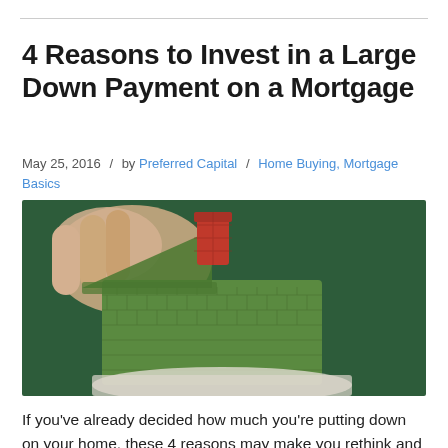4 Reasons to Invest in a Large Down Payment on a Mortgage
May 25, 2016 / by Preferred Capital / Home Buying, Mortgage Basics
[Figure (photo): Close-up of a hand holding a green toy/ceramic miniature house with a red chimney, against a dark green background.]
If you've already decided how much you're putting down on your home, these 4 reasons may make you rethink and